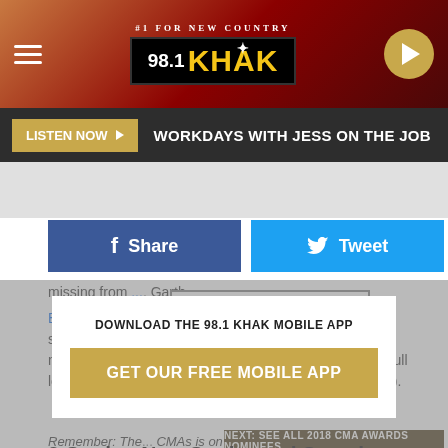#1 FOR NEW COUNTRY — 98.1 KHAK
LISTEN NOW ▶   WORKDAYS WITH JESS ON THE JOB
f Share   Tweet
missing from [obscured] Garth Brooks, Blake [obscured] McGraw also got shut out. Conversely, Luke Combs earned a surprise nomination in the Male Vocalist of the Year category (a full look at Taste of Country's Snubs and Surprises is below).
[Figure (screenshot): 98.1 KHAK logo overlay on article text]
Remember: The [obscured] CMAs is on TV, with ToC on your phone!
DOWNLOAD THE 98.1 KHAK MOBILE APP
GET OUR FREE MOBILE APP
NEXT: SEE ALL 2018 CMA AWARDS NOMINEES
9 Snubs, Non-Snubs and Surprises Among
CMA Awards Nominations